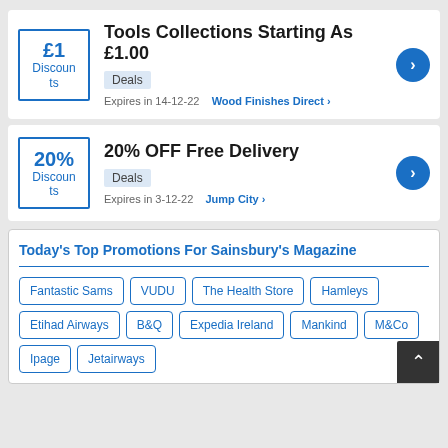Tools Collections Starting As £1.00
Deals
Expires in 14-12-22   Wood Finishes Direct >
20% OFF Free Delivery
Deals
Expires in 3-12-22   Jump City >
Today's Top Promotions For Sainsbury's Magazine
Fantastic Sams
VUDU
The Health Store
Hamleys
Etihad Airways
B&Q
Expedia Ireland
Mankind
M&Co
Ipage
Jetairways